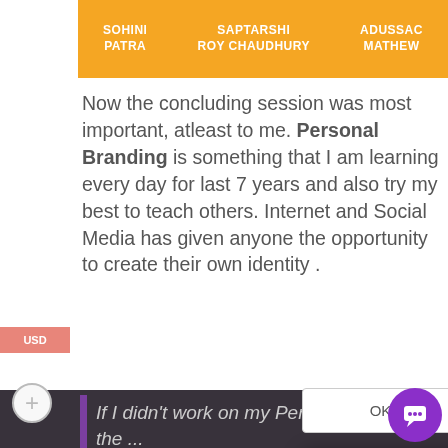[Figure (infographic): Orange banner with three names: SOHINI PATRA, SAPTARSHI ROY CHAUDHURY, ADUSSAC MATHEW]
Now the concluding session was most important, atleast to me. Personal Branding is something that I am learning every day for last 7 years and also try my best to teach others. Internet and Social Media has given anyone the opportunity to create their own identity .
If I didn't work on my Personal Branding, the ...
...a Home... hometown M...ur, working with people a...ver the world.
This site uses cookies ... continuing to browse the ... cookies.
Hi! How can we help you?
OK